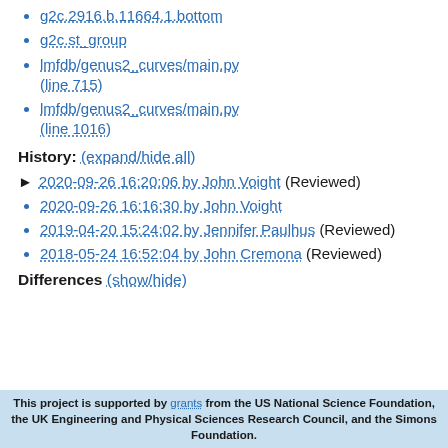g2c.2916.b.11664.1.bottom
g2c.st_group
lmfdb/genus2_curves/main.py (line 715)
lmfdb/genus2_curves/main.py (line 1016)
History: (expand/hide all)
2020-09-26 16:20:06 by John Voight (Reviewed)
2020-09-26 16:16:30 by John Voight
2019-04-20 15:24:02 by Jennifer Paulhus (Reviewed)
2018-05-24 16:52:04 by John Cremona (Reviewed)
Differences (show/hide)
This project is supported by grants from the US National Science Foundation, the UK Engineering and Physical Sciences Research Council, and the Simons Foundation.